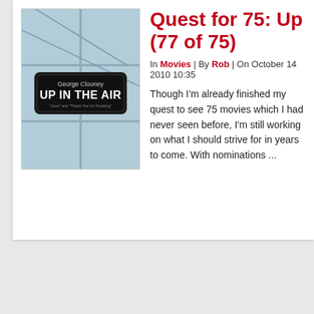[Figure (photo): Movie poster for 'Up in the Air' featuring George Clooney, shown against an airport terminal window background with the title on a dark sign.]
Quest for 75: Up in the Air (77 of 75)
In Movies | By Rob | On October 14 2010 10:35
Though I'm already finished my quest to see 75 movies which I had never seen before, I'm still working on what I should strive for in years to come. With nominations ...